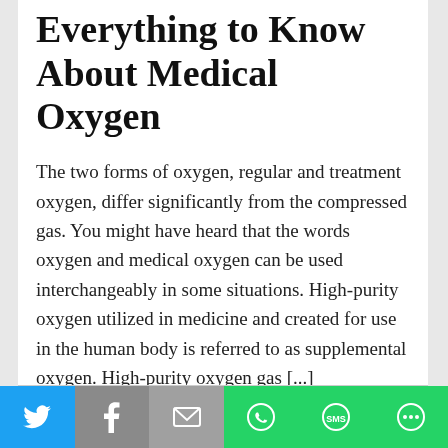Everything to Know About Medical Oxygen
The two forms of oxygen, regular and treatment oxygen, differ significantly from the compressed gas. You might have heard that the words oxygen and medical oxygen can be used interchangeably in some situations. High-purity oxygen utilized in medicine and created for use in the human body is referred to as supplemental oxygen. High-purity oxygen gas [...]